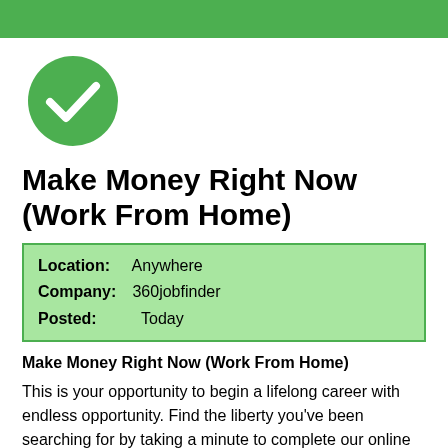[Figure (illustration): Green horizontal banner bar at the top of the page]
[Figure (illustration): Green circle with white checkmark icon]
Make Money Right Now (Work From Home)
| Location: | Anywhere |
| Company: | 360jobfinder |
| Posted: | Today |
Make Money Right Now (Work From Home)
This is your opportunity to begin a lifelong career with endless opportunity. Find the liberty you've been searching for by taking a minute to complete our online